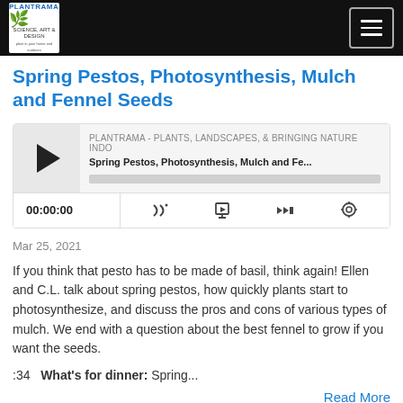PLANTRAMA navigation bar with logo and hamburger menu
Spring Pestos, Photosynthesis, Mulch and Fennel Seeds
[Figure (screenshot): Podcast player widget showing episode 'Spring Pestos, Photosynthesis, Mulch and Fe...' from PLANTRAMA - PLANTS, LANDSCAPES, & BRINGING NATURE INDO, with play button, progress bar, time 00:00:00 and control icons]
Mar 25, 2021
If you think that pesto has to be made of basil, think again! Ellen and C.L. talk about spring pestos, how quickly plants start to photosynthesize, and discuss the pros and cons of various types of mulch. We end with a question about the best fennel to grow if you want the seeds.
:34   What's for dinner: Spring...
Read More